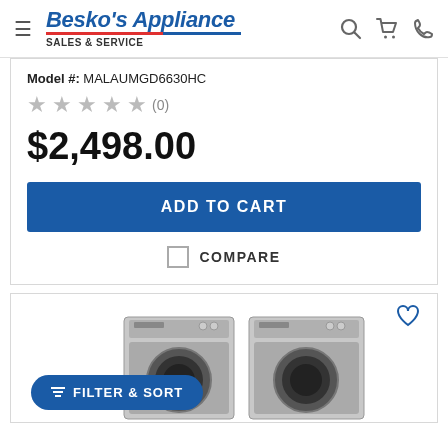Besko's Appliance SALES & SERVICE
Model #: MALAUMGD6630HC
★★★★★ (0)
$2,498.00
ADD TO CART
COMPARE
[Figure (photo): Two stainless steel front-load washer and dryer appliances side by side]
FILTER & SORT